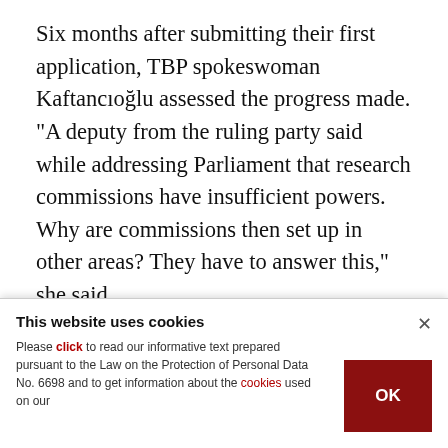Six months after submitting their first application, TBP spokeswoman Kaftancıoğlu assessed the progress made. "A deputy from the ruling party said while addressing Parliament that research commissions have insufficient powers. Why are commissions then set up in other areas? They have to answer this," she said.
"A commission had been established to look into
This website uses cookies
Please click to read our informative text prepared pursuant to the Law on the Protection of Personal Data No. 6698 and to get information about the cookies used on our